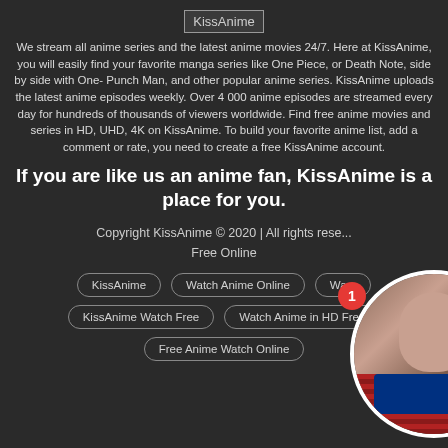[Figure (logo): KissAnime logo/broken image placeholder]
We stream all anime series and the latest anime movies 24/7. Here at KissAnime, you will easily find your favorite manga series like One Piece, or Death Note, side by side with One-Punch Man, and other popular anime series. KissAnime uploads the latest anime episodes weekly. Over 4 000 anime episodes are streamed every day for hundreds of thousands of viewers worldwide. Find free anime movies and series in HD, UHD, 4K on KissAnime. To build your favorite anime list, add a comment or rate, you need to create a free KissAnime account.
If you are like us an anime fan, KissAnime is a place for you.
[Figure (photo): Circular avatar photo of a man in Superman costume]
Copyright KissAnime © 2020 | All rights reserved | Watch Anime Free Online
KissAnime
Watch Anime Online
Wa...
KissAnime Watch Free
Watch Anime in HD Free
Free Anime Watch Online